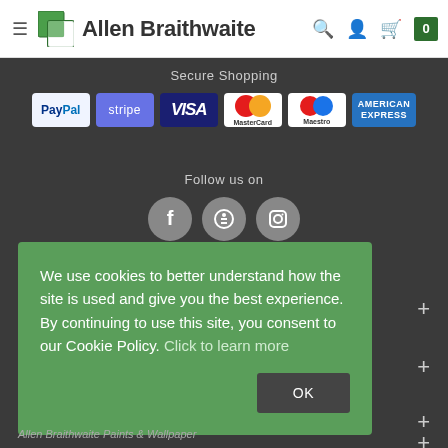Allen Braithwaite — navigation header with logo, hamburger menu, search, account, and cart (0)
Secure Shopping
[Figure (infographic): Payment method logos: PayPal, Stripe, VISA, MasterCard, Maestro, American Express]
Follow us on
[Figure (infographic): Social media icons: Facebook, Twitter/X, Instagram]
We use cookies to better understand how the site is used and give you the best experience. By continuing to use this site, you consent to our Cookie Policy. Click to learn more
OK
Allen Braithwaite Paints & Wallpaper